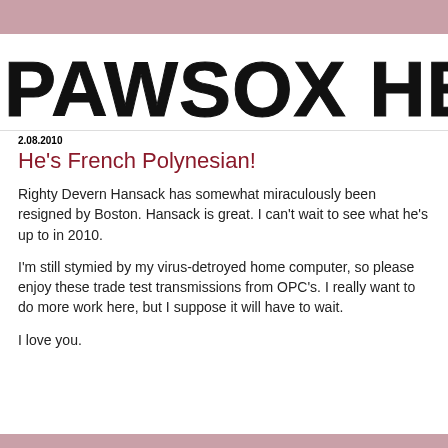[Figure (logo): Blog header logo reading 'PAWSOX HEAVY' in large black stylized block letters on white background]
2.08.2010
He's French Polynesian!
Righty Devern Hansack has somewhat miraculously been resigned by Boston. Hansack is great. I can't wait to see what he's up to in 2010.
I'm still stymied by my virus-detroyed home computer, so please enjoy these trade test transmissions from OPC's. I really want to do more work here, but I suppose it will have to wait.
I love you.